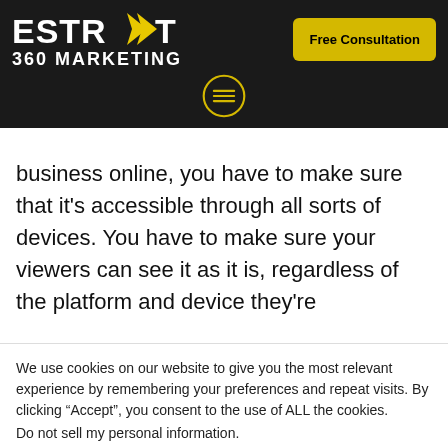[Figure (logo): ESTRAT 360 MARKETING logo in white bold text on dark background with yellow arrow graphic]
[Figure (other): Yellow circle hamburger menu icon (three horizontal lines)]
business online, you have to make sure that it's accessible through all sorts of devices. You have to make sure your viewers can see it as it is, regardless of the platform and device they're
We use cookies on our website to give you the most relevant experience by remembering your preferences and repeat visits. By clicking “Accept”, you consent to the use of ALL the cookies.
Do not sell my personal information.